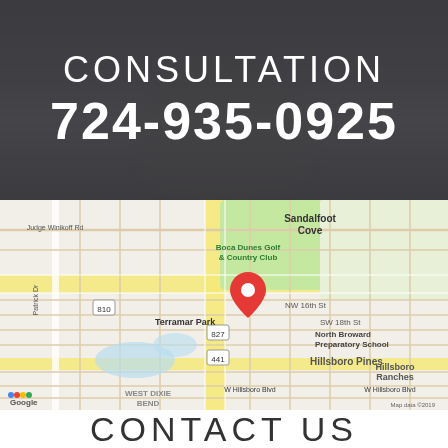CONSULTATION
724-935-0925
[Figure (map): Google Maps screenshot showing Boca Dunes Golf & Country Club area, Sandalfoot Cove, Terramar Park, Hillsboro Pines, Hillsboro Ranches, West Dixie Bend, North Broward Preparatory School. A red map pin marker is placed near the center. Roads visible include Judge Winikoff Rd, Patrick Dr, W Hillsboro Blvd, route 441, 810, 827. Map data 2019 Google.]
CONTACT US